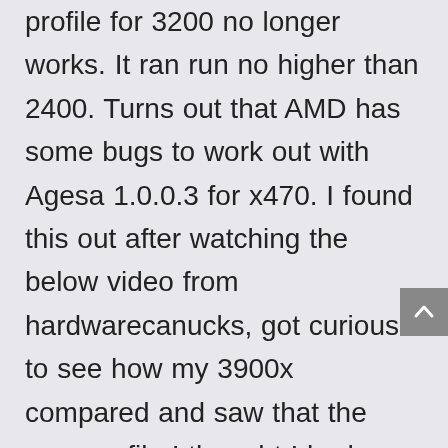profile for 3200 no longer works. It ran run no higher than 2400. Turns out that AMD has some bugs to work out with Agesa 1.0.0.3 for x470. I found this out after watching the below video from hardwarecanucks, got curious to see how my 3900x compared and saw that the xmp profile I thought I had enabled, it didn't take and reverted back to 2133. The system works with ram at 2133 or 2400, so it isn't like I can't use it, just can't turn the xmp profile up to 3200.